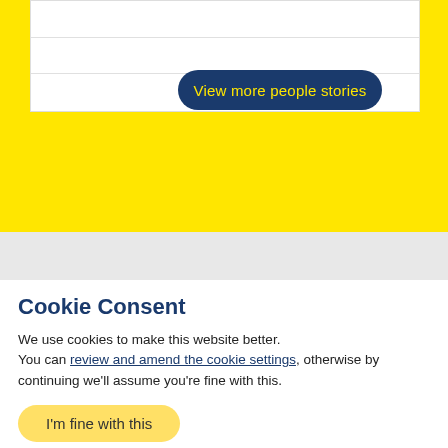[Figure (screenshot): Yellow background section with a white card containing horizontal lines, and a dark navy blue rounded button labeled 'View more people stories' with yellow text.]
[Figure (screenshot): Gray section with a partially visible navy-bordered rounded button.]
Cookie Consent
We use cookies to make this website better. You can review and amend the cookie settings, otherwise by continuing we'll assume you're fine with this.
I'm fine with this
The website uses a few cookies that are essential to providing the